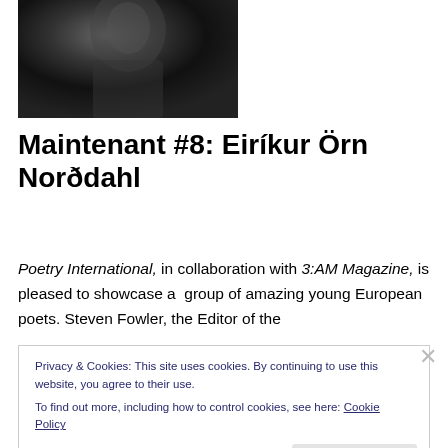[Figure (photo): Black and white photo of a person, partially cropped, dark background]
Maintenant #8: Eiríkur Örn Norðdahl
Poetry International, in collaboration with 3:AM Magazine, is pleased to showcase a group of amazing young European poets. Steven Fowler, the Editor of the
Privacy & Cookies: This site uses cookies. By continuing to use this website, you agree to their use.
To find out more, including how to control cookies, see here: Cookie Policy